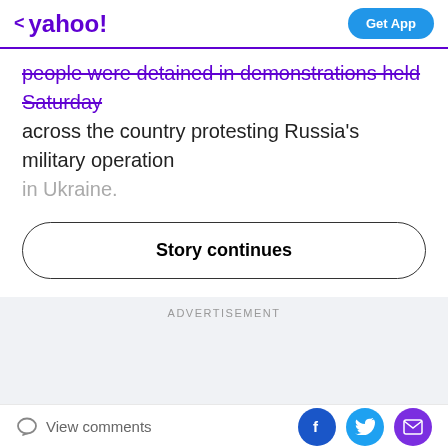< yahoo! | Get App
people were detained in demonstrations held Saturday across the country protesting Russia's military operation in Ukraine.
Story continues
ADVERTISEMENT
View comments